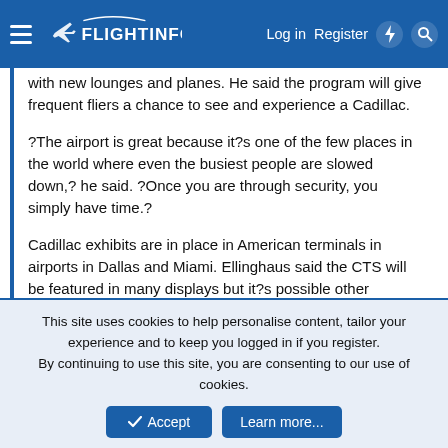FlightInfo — Log in | Register
with new lounges and planes. He said the program will give frequent fliers a chance to see and experience a Cadillac.
?The airport is great because it?s one of the few places in the world where even the busiest people are slowed down,? he said. ?Once you are through security, you simply have time.?
Cadillac exhibits are in place in American terminals in airports in Dallas and Miami. Ellinghaus said the CTS will be featured in many displays but it?s possible other Cadillacs will be used, too.
Cadillac and American began the luxury airport transfer program at Los Angeles International Airport (LAX) this month, with a few using it, and plan to expand it to other airports by the end of the year, said Suzanne Rubin, president of American?s AAdvantage loyalty program.
This site uses cookies to help personalise content, tailor your experience and to keep you logged in if you register. By continuing to use this site, you are consenting to our use of cookies.